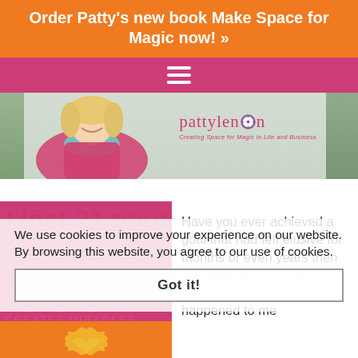Order Patty's new book Make Space for Magic now! »
[Figure (screenshot): Pink navigation bar with hamburger menu icon (three horizontal white lines)]
[Figure (photo): Website header banner showing a blonde woman in a pink coat and teal scarf, smiling outdoors in a winter setting. Logo text 'pattylennon' with tagline 'Creating Space for Magic in Life and Business']
I lost 21 pounds and ...
Have you ever achieved a goal that had felt elusive for months or even years then suddenly achieving it became easy? That happened to me
[Figure (screenshot): Left pink panel with decorative text: 'I lost 21 pounds and...' headline, 'COMMITMENT' text, wavy underline, 'CREATES MIRACLES' text, orange bottom section with floral motif]
We use cookies to improve your experience on our website. By browsing this website, you agree to our use of cookies.
Got it!